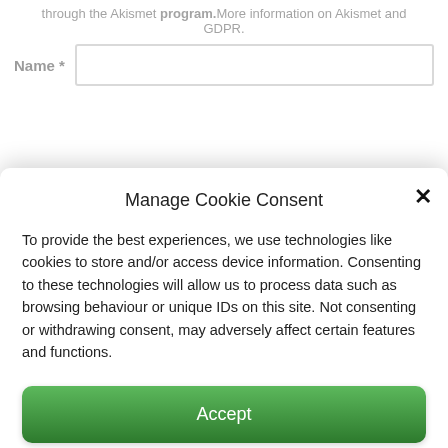through the Akismet program.More information on Akismet and GDPR.
Name *
Manage Cookie Consent
To provide the best experiences, we use technologies like cookies to store and/or access device information. Consenting to these technologies will allow us to process data such as browsing behaviour or unique IDs on this site. Not consenting or withdrawing consent, may adversely affect certain features and functions.
Accept
Deny
View preferences
Cookie Policy   Privacy Policy